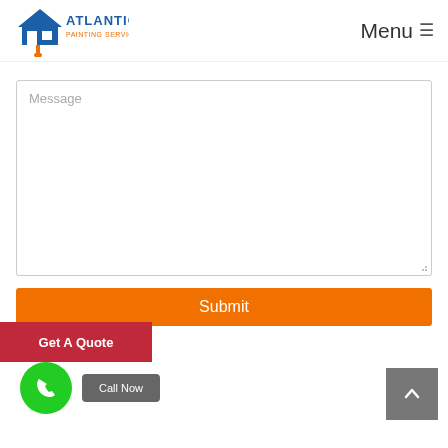[Figure (logo): Atlantic Painting Service logo with house icon and paint brush]
Menu ≡
Message
Submit
Get A Quote
Call Now